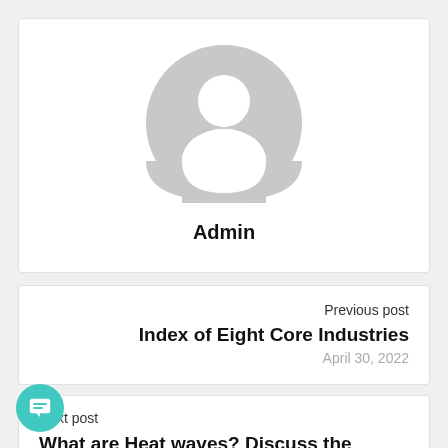[Figure (illustration): Generic user avatar icon — grey circle silhouette of a person (head and shoulders) on white background]
Admin
Previous post
Index of Eight Core Industries
April 30, 2022
Next post
What are Heat waves? Discuss the reasons for increasing incidents of heat waves, and its